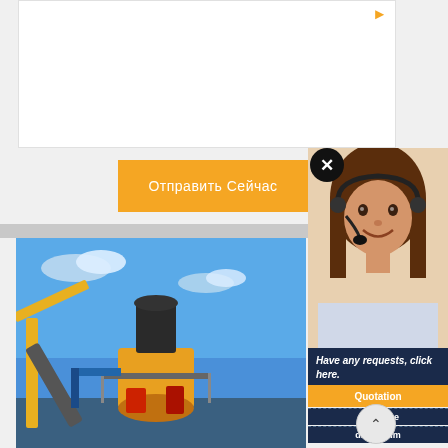[Figure (other): White form/text area input box with orange arrow icon at top right]
[Figure (other): Orange submit button with Russian text 'Отправить Сейчас' (Send Now)]
[Figure (photo): Industrial mining/crushing equipment (cone crusher) against blue sky]
[Figure (photo): Customer support agent woman with headset smiling]
Have any requests, click here.
Quotation
дознание
drobilkalm